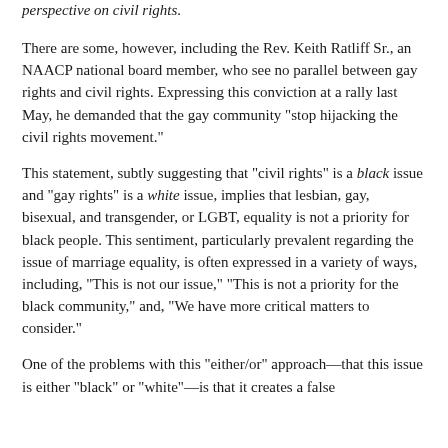perspective on civil rights.
There are some, however, including the Rev. Keith Ratliff Sr., an NAACP national board member, who see no parallel between gay rights and civil rights. Expressing this conviction at a rally last May, he demanded that the gay community “stop hijacking the civil rights movement.”
This statement, subtly suggesting that “civil rights” is a black issue and “gay rights” is a white issue, implies that lesbian, gay, bisexual, and transgender, or LGBT, equality is not a priority for black people. This sentiment, particularly prevalent regarding the issue of marriage equality, is often expressed in a variety of ways, including, “This is not our issue,” “This is not a priority for the black community,” and, “We have more critical matters to consider.”
One of the problems with this “either/or” approach—that this issue is either “black” or “white”—is that it creates a false